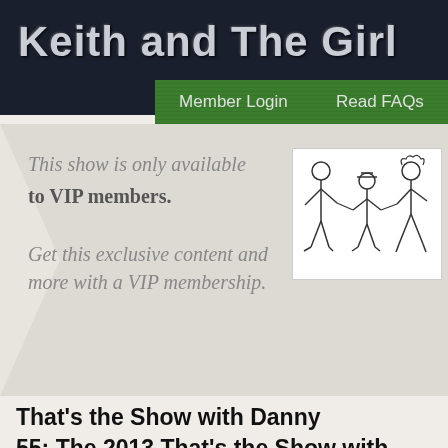Keith and The Girl
Member Login   Read FAQs
This show is only available to VIP members. Get this exclusive content and more with a VIP membership.
[Figure (illustration): Stick figure drawing of three characters: a tall thin figure, a shorter figure in the middle, and a figure with curly hair on the right, holding hands.]
That's the Show with Danny 55: The 2013 That's the Show with Danny Elliott Smith 10 Year Memorial